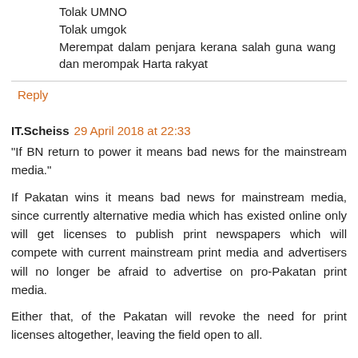Tolak UMNO
Tolak umgok
Merempat dalam penjara kerana salah guna wang dan merompak Harta rakyat
Reply
IT.Scheiss 29 April 2018 at 22:33
"If BN return to power it means bad news for the mainstream media."
If Pakatan wins it means bad news for mainstream media, since currently alternative media which has existed online only will get licenses to publish print newspapers which will compete with current mainstream print media and advertisers will no longer be afraid to advertise on pro-Pakatan print media.
Either that, of the Pakatan will revoke the need for print licenses altogether, leaving the field open to all.